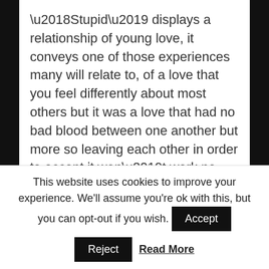‘Stupid’ displays a relationship of young love, it conveys one of those experiences many will relate to, of a love that you feel differently about most others but it was a love that had no bad blood between one another but more so leaving each other in order to accept it won’t work no matter how hard you try. ‘Stupid’ is a track that is simply honouring the few good time and good moments for her is beautiful to reminisce and just great for her to nostalgic over for a while.

This is an excellent indie-pop single, which ticks all
This website uses cookies to improve your experience. We'll assume you're ok with this, but you can opt-out if you wish.